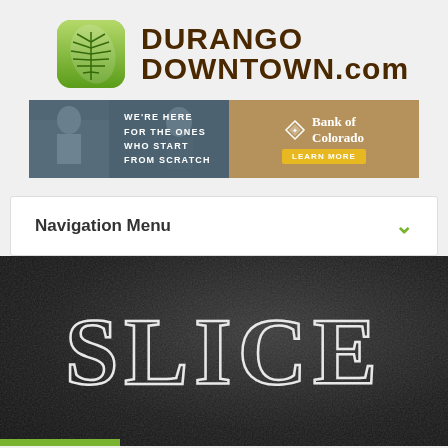[Figure (logo): DurangoDowntown.com logo with green leaf icon and brown text]
[Figure (infographic): Bank of Colorado banner ad: 'We're here for the ones who start from scratch' with learn more button]
Navigation Menu
SLICE